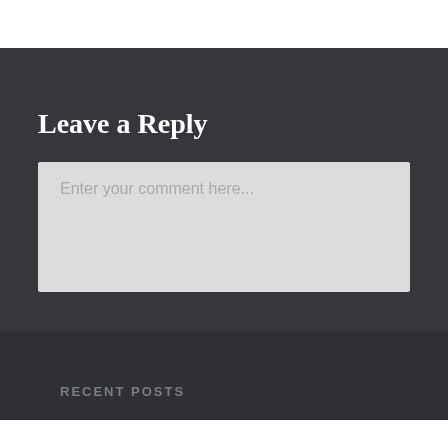Leave a Reply
Enter your comment here...
RECENT POSTS